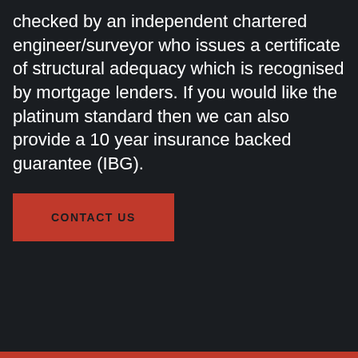checked by an independent chartered engineer/surveyor who issues a certificate of structural adequacy which is recognised by mortgage lenders. If you would like the platinum standard then we can also provide a 10 year insurance backed guarantee (IBG).
CONTACT US